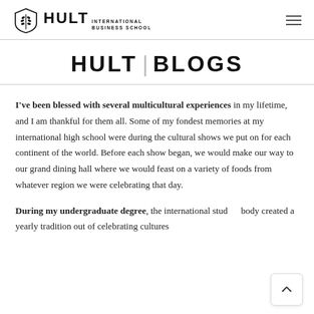HULT INTERNATIONAL BUSINESS SCHOOL
HULT | BLOGS
I've been blessed with several multicultural experiences in my lifetime, and I am thankful for them all. Some of my fondest memories at my international high school were during the cultural shows we put on for each continent of the world. Before each show began, we would make our way to our grand dining hall where we would feast on a variety of foods from whatever region we were celebrating that day.
During my undergraduate degree, the international student body created a yearly tradition out of celebrating cultures